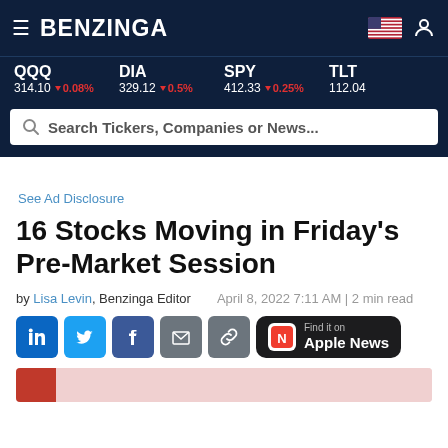BENZINGA
QQQ 314.10 ▼ 0.08%  DIA 329.12 ▼ 0.5%  SPY 412.33 ▼ 0.25%  TLT 112.04
Search Tickers, Companies or News...
See Ad Disclosure
16 Stocks Moving in Friday's Pre-Market Session
by Lisa Levin, Benzinga Editor   April 8, 2022 7:11 AM | 2 min read